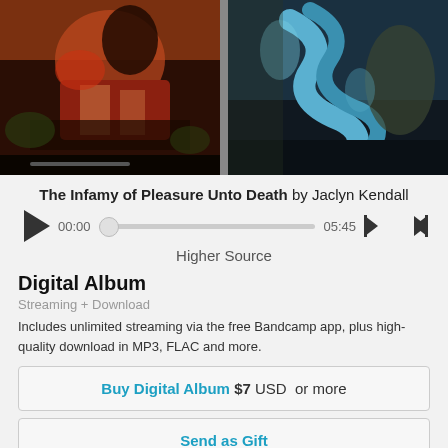[Figure (illustration): Two-panel album artwork showing renaissance-style paintings: left panel with reddish tones showing figures, right panel with blue-green tones showing serpentine figures]
The Infamy of Pleasure Unto Death by Jaclyn Kendall
[Figure (other): Audio player with play button, time display 00:00 to 05:45, scrubber bar, skip back and skip forward controls]
Higher Source
Digital Album
Streaming + Download
Includes unlimited streaming via the free Bandcamp app, plus high-quality download in MP3, FLAC and more.
Buy Digital Album $7 USD or more
Send as Gift